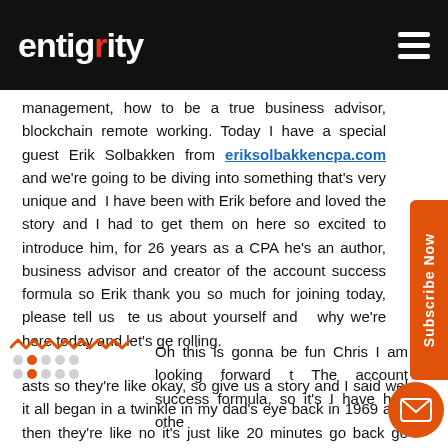entigrity (logo) — hamburger menu
management, how to be a true business advisor, blockchain remote working. Today I have a special guest Erik Solbakken from eriksolbakkencpa.com and we're going to be diving into something that's very unique and I have been with Erik before and loved the story and I had to get them on here so excited to introduce him, for 26 years as a CPA he's an author, business advisor and creator of the account success formula so Erik thank you so much for joining today, please tell us tell us about yourself and why we're here today and let's get rolling.
Oh this is gonna be fun Chris I am looking forward t The account success formula, so it's I have had other asts so they're like okay, so give us a story and I said well it all began in a twinkle in my dad's eye back in 1969 and then they're like no it's just like 20 minutes go back go quick here fast and fast forward, so I'll go let's move in greatest era of all was the 1980s when the hair you know long